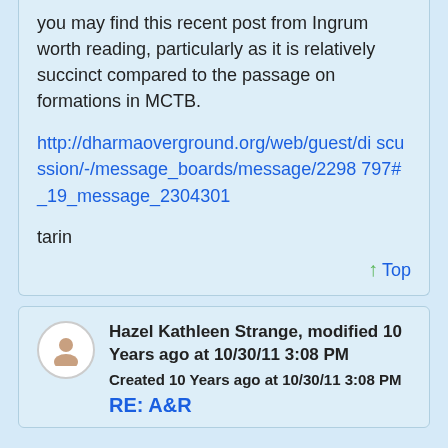you may find this recent post from Ingrum worth reading, particularly as it is relatively succinct compared to the passage on formations in MCTB.
http://dharmaoverground.org/web/guest/discussion/-/message_boards/message/2298797#_19_message_2304301
tarin
↑ Top
Hazel Kathleen Strange, modified 10 Years ago at 10/30/11 3:08 PM
Created 10 Years ago at 10/30/11 3:08 PM
RE: A&R